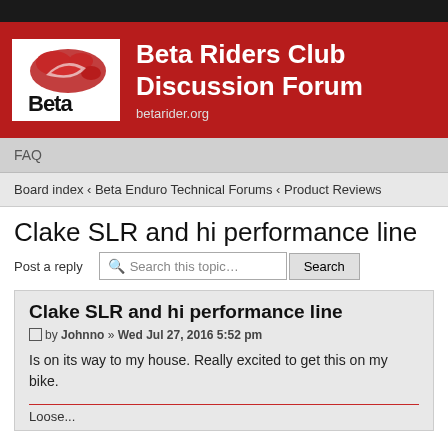Beta Riders Club Discussion Forum — betarider.org
FAQ
Board index ‹ Beta Enduro Technical Forums ‹ Product Reviews
Clake SLR and hi performance line
Post a reply
Clake SLR and hi performance line
by Johnno » Wed Jul 27, 2016 5:52 pm
Is on its way to my house. Really excited to get this on my bike.
Loose...